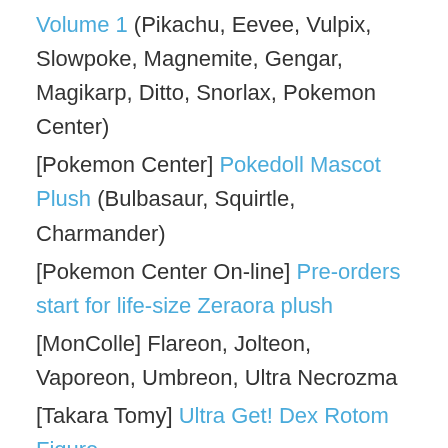Volume 1 (Pikachu, Eevee, Vulpix, Slowpoke, Magnemite, Gengar, Magikarp, Ditto, Snorlax, Pokemon Center)
[Pokemon Center] Pokedoll Mascot Plush (Bulbasaur, Squirtle, Charmander)
[Pokemon Center On-line] Pre-orders start for life-size Zeraora plush
[MonColle] Flareon, Jolteon, Vaporeon, Umbreon, Ultra Necrozma
[Takara Tomy] Ultra Get! Dex Rotom Figure
9.17